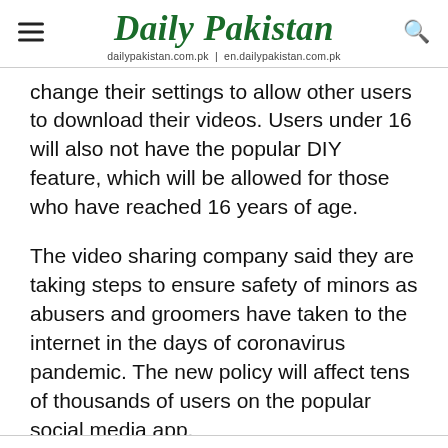Daily Pakistan
dailypakistan.com.pk | en.dailypakistan.com.pk
change their settings to allow other users to download their videos. Users under 16 will also not have the popular DIY feature, which will be allowed for those who have reached 16 years of age.
The video sharing company said they are taking steps to ensure safety of minors as abusers and groomers have taken to the internet in the days of coronavirus pandemic. The new policy will affect tens of thousands of users on the popular social media app.